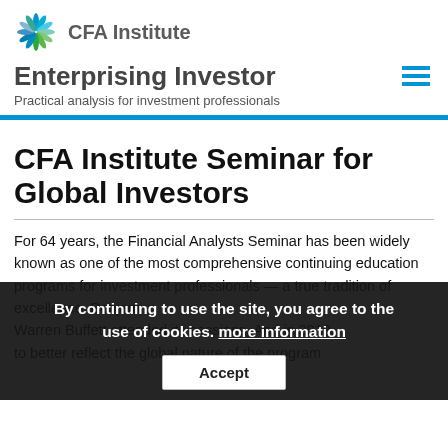CFA Institute
Enterprising Investor
Practical analysis for investment professionals
CFA Institute Seminar for Global Investors
For 64 years, the Financial Analysts Seminar has been widely known as one of the most comprehensive continuing education programs for investment professionals — a true tradition of excellence. Benjamin... served on its faculty. Warren Buffett attended its sessions. And in 2019, to better reflect the global nature of the program
By continuing to use the site, you agree to the use of cookies. more information